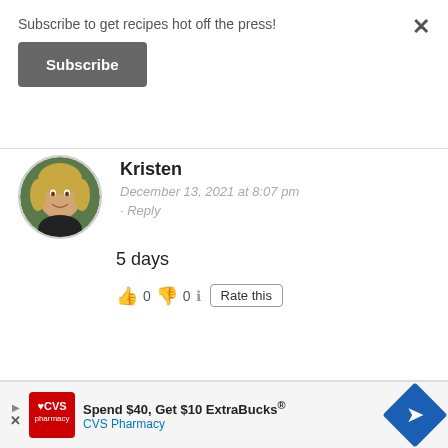Subscribe to get recipes hot off the press!
Subscribe
×
Kristen
December 13, 2021 at 8:07 pm
· Reply
5 days
👍 0 👎 0 ℹ Rate this
[Figure (photo): Round avatar photo of Kristen, a blonde woman smiling outdoors]
Chris
[Figure (other): CVS Pharmacy advertisement: Spend $40, Get $10 ExtraBucks®]